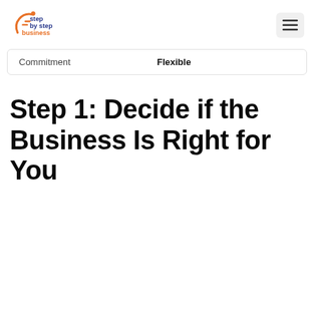step by step business
| Commitment | Flexible |
| --- | --- |
Step 1: Decide if the Business Is Right for You